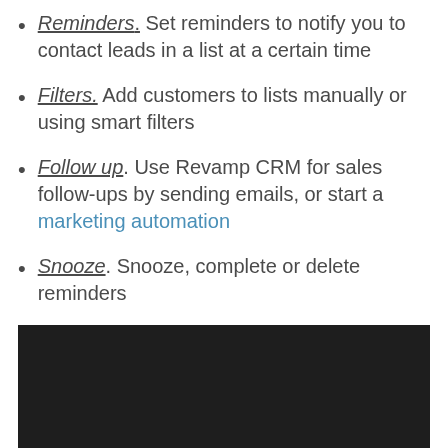Reminders. Set reminders to notify you to contact leads in a list at a certain time
Filters. Add customers to lists manually or using smart filters
Follow up. Use Revamp CRM for sales follow-ups by sending emails, or start a marketing automation
Snooze. Snooze, complete or delete reminders
[Figure (screenshot): Dark/black rectangular area representing an embedded video or screenshot placeholder]